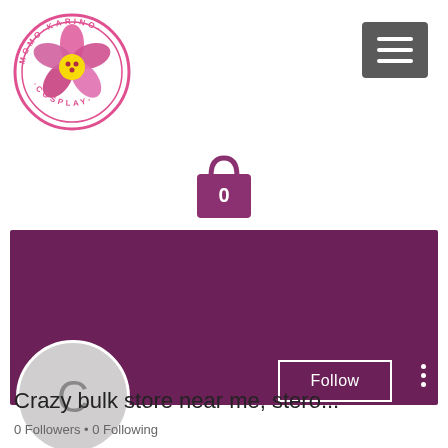[Figure (logo): Momo Karino Cosplay circular logo with pink cherry blossom flower]
[Figure (illustration): Gray hamburger menu button with three white horizontal lines]
[Figure (illustration): Purple shopping bag icon with the number 0 on it]
[Figure (illustration): Dark purple/maroon profile banner with Follow button and three-dot menu, and a light gray avatar circle with letter C]
Crazy bulk store near me, stero...
0 Followers • 0 Following